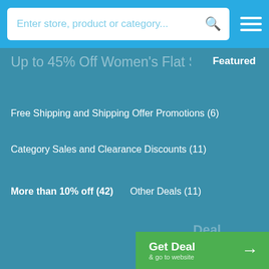[Figure (screenshot): Search bar with placeholder text 'Enter store, product or category...' and a search icon, with a hamburger menu icon on the right, all on a blue background.]
Featured
Up to 45% Off Women's Flat Sandals From
Free Shipping and Shipping Offer Promotions (6)
Category Sales and Clearance Discounts (11)
More than 10% off (42)    Other Deals (11)
Up to 80% Off Women's Dresses
Get Deal & go to website